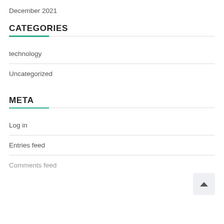December 2021
CATEGORIES
technology
Uncategorized
META
Log in
Entries feed
Comments feed